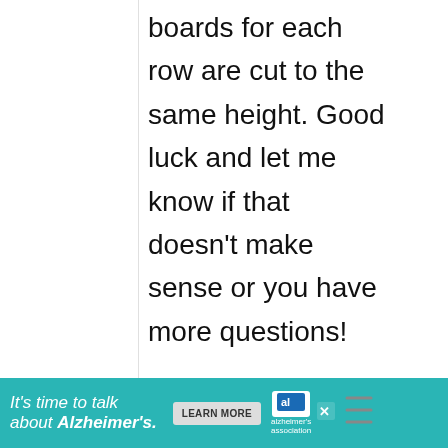boards for each row are cut to the same height. Good luck and let me know if that doesn't make sense or you have more questions!
Reply
JIM SAYS
November 19, 2020 at 7:36 am
WHAT'S NEXT → How to make a stencil the...
22.7K
[Figure (infographic): Alzheimer's Association advertisement banner: teal background with text 'It's time to talk about Alzheimer's.' and a LEARN MORE button, Alzheimer's association logo, and close/dismiss icons.]